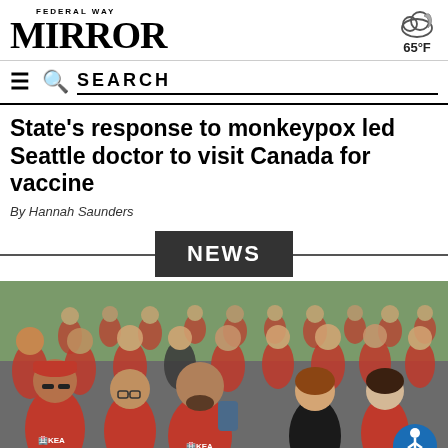FEDERAL WAY MIRROR — 65°F
SEARCH
State's response to monkeypox led Seattle doctor to visit Canada for vaccine
By Hannah Saunders
NEWS
[Figure (photo): Large crowd of people many wearing red KEA t-shirts walking together outdoors]